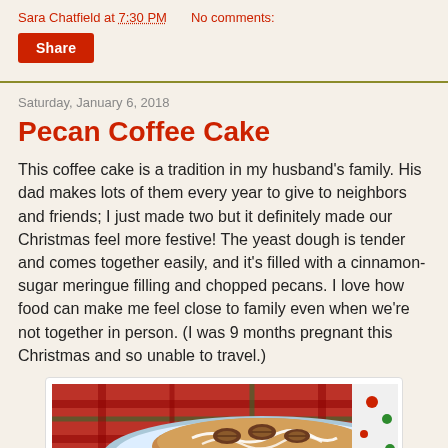Sara Chatfield at 7:30 PM   No comments:
Share
Saturday, January 6, 2018
Pecan Coffee Cake
This coffee cake is a tradition in my husband's family.  His dad makes lots of them every year to give to neighbors and friends; I just made two but it definitely made our Christmas feel more festive! The yeast dough is tender and comes together easily, and it's filled with a cinnamon-sugar meringue filling and chopped pecans.  I love how food can make me feel close to family even when we're not together in person.  (I was 9 months pregnant this Christmas and so unable to travel.)
[Figure (photo): Photo of pecan coffee cake on a plate with icing drizzle and whole pecans on top, with a festive plaid background]